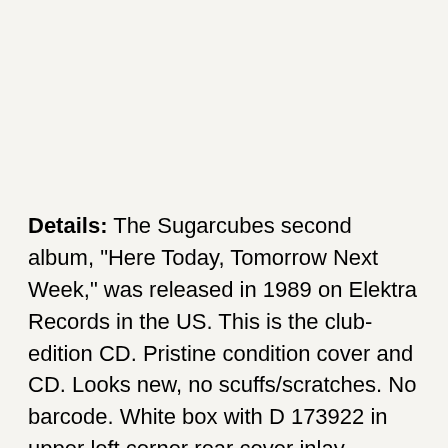Details: The Sugarcubes second album, "Here Today, Tomorrow Next Week," was released in 1989 on Elektra Records in the US. This is the club-edition CD. Pristine condition cover and CD. Looks new, no scuffs/scratches. No barcode. White box with D 173922 in upper left corner rear cover inlay. Mistake in booklet: Track 10 (Shoot Him) is not listed inside the booklet, no lyrics, no track #, no title.
Description: "Emerging from the ashes of K.U.K.L., The Sugarcubes signed to One Little Indian in 1987. Fronted